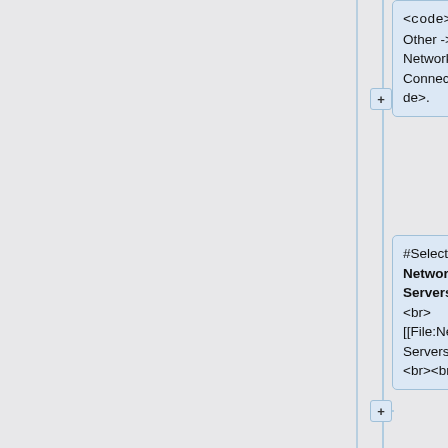<code>File -> Other -> Network Connection</code>.
#Select """Edit Network Servers""". <br><br>[[File:Network_Servers.png]]<br><br>
#Select """Edit Network Servers""". The Network Location Setup window will appear.<br><br>[[File:Add_Location.png|300px]]